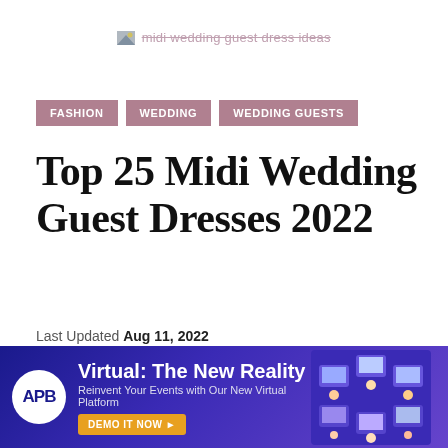midi wedding guest dress ideas
FASHION
WEDDING
WEDDING GUESTS
Top 25 Midi Wedding Guest Dresses 2022
Last Updated Aug 11, 2022
[Figure (infographic): Social share bar with Share button, Facebook, Pinterest, Google, Twitter, and Email icons]
It's time for you to find the perfect wedding guest dress
[Figure (infographic): APB advertisement banner: Virtual: The New Reality. Reinvent Your Events with Our New Virtual Platform. DEMO IT NOW.]